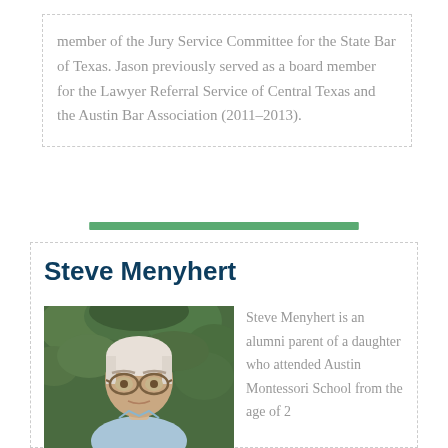member of the Jury Service Committee for the State Bar of Texas. Jason previously served as a board member for the Lawyer Referral Service of Central Texas and the Austin Bar Association (2011–2013).
[Figure (illustration): Green horizontal bar separator]
Steve Menyhert
[Figure (photo): Headshot photo of Steve Menyhert, an older man with gray-white hair and glasses, wearing a light blue shirt, with green leafy background]
Steve Menyhert is an alumni parent of a daughter who attended Austin Montessori School from the age of 2